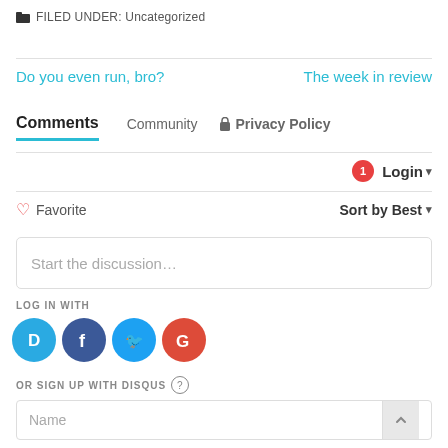FILED UNDER: Uncategorized
Do you even run, bro?
The week in review
Comments   Community   🔒 Privacy Policy
Login ▼
♡ Favorite   Sort by Best ▼
Start the discussion…
LOG IN WITH
OR SIGN UP WITH DISQUS ?
Name